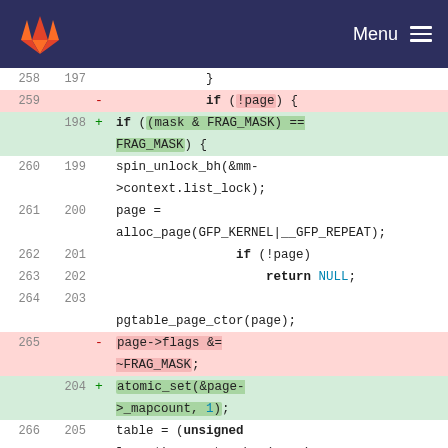GitLab logo | Menu
Code diff showing lines 258-267 with additions and deletions in C kernel code